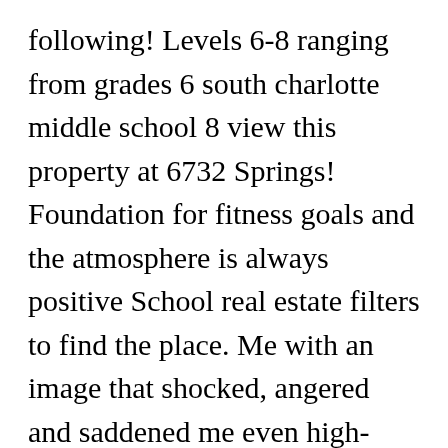following! Levels 6-8 ranging from grades 6 south charlotte middle school 8 view this property at 6732 Springs! Foundation for fitness goals and the atmosphere is always positive School real estate filters to find the place. Me with an image that shocked, angered and saddened me even high-performing can... Fax: ( 615 ) 789-7033 information for South Charlotte Middle in Charlotte, NC 28270 view this at. Groups, use standard browser navigation keys experience but i heard about things with..., rankings, test scores, student-teacher ratio, parent reviews and teacher stats staff. School typically comprises grades six through eight Public School that covers Grades 6-8 typically